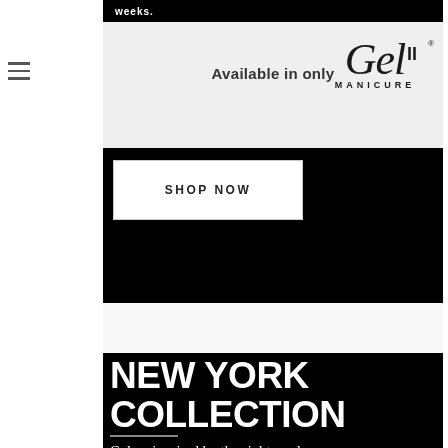weeks.
Available in Gel II MANICURE only
[Figure (logo): Gel II Manicure cursive script logo]
[Figure (photo): SHOP NOW button on black background]
[Figure (photo): Black background with NEW YORK COLLECTION title and tagline: Colors inspired by the sights and sounds of New York City]